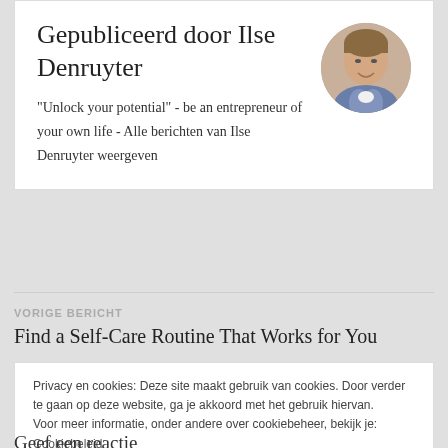Gepubliceerd door Ilse Denruyter
"Unlock your potential" - be an entrepreneur of your own life - Alle berichten van Ilse Denruyter weergeven
[Figure (photo): Circular portrait photo of Ilse Denruyter, a woman with short hair, smiling, wearing a patterned top]
VORIGE BERICHT
Find a Self-Care Routine That Works for You
Privacy en cookies: Deze site maakt gebruik van cookies. Door verder te gaan op deze website, ga je akkoord met het gebruik hiervan.
Voor meer informatie, onder andere over cookiebeheer, bekijk je: Cookiebeleid
Sluiten en bevestigen
Geef een reactie